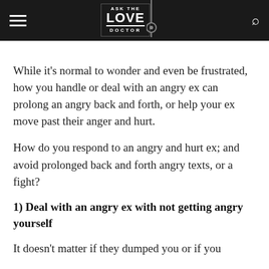ASK THE LOVE DOCTOR
While it's normal to wonder and even be frustrated, how you handle or deal with an angry ex can prolong an angry back and forth, or help your ex move past their anger and hurt.
How do you respond to an angry and hurt ex; and avoid prolonged back and forth angry texts, or a fight?
1) Deal with an angry ex with not getting angry yourself
It doesn't matter if they dumped you or if you